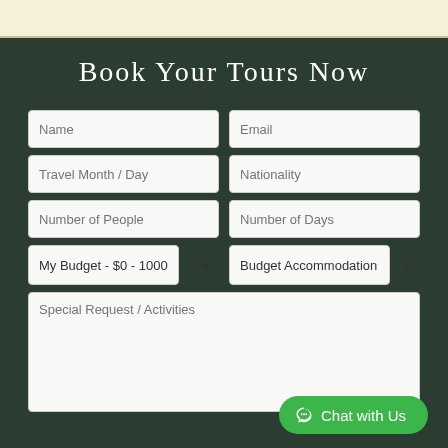Book Your Tours Now
Name
Email
Travel Month / Day
Nationality
Number of People
Number of Days
My Budget - $0 - 1000
Budget Accommodation
Special Request / Activities
Chat with Us